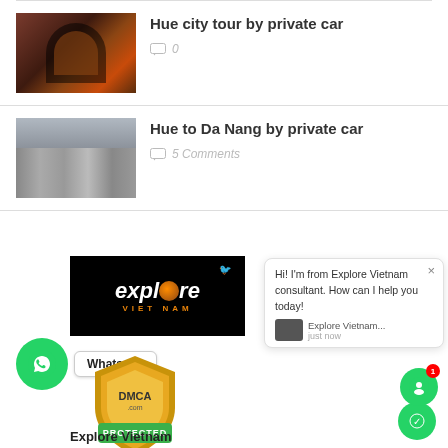Hue city tour by private car — 0 comments
Hue to Da Nang by private car — 5 Comments
[Figure (logo): Explore Viet Nam logo on black background with orange stylized O and bird silhouette]
[Figure (other): WhatsApp icon (green circle with phone) and Whatsapp label bubble]
[Figure (other): DMCA Protected gold shield badge]
[Figure (other): Chat popup from Explore Vietnam consultant saying: Hi! I'm from Explore Vietnam consultant. How can I help you today!]
Explore Vietnam